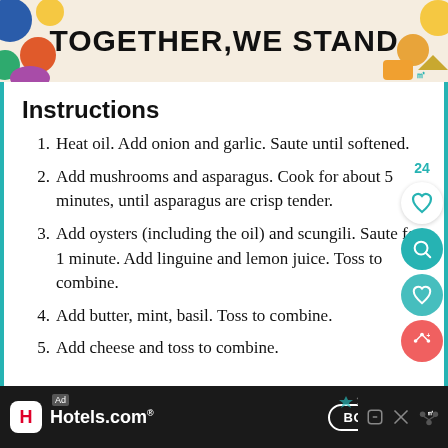[Figure (other): Top banner advertisement with colorful abstract shapes and bold text 'TOGETHER, WE STAND']
Instructions
Heat oil. Add onion and garlic. Saute until softened.
Add mushrooms and asparagus. Cook for about 5 minutes, until asparagus are crisp tender.
Add oysters (including the oil) and scungili. Saute for 1 minute. Add linguine and lemon juice. Toss to combine.
Add butter, mint, basil. Toss to combine.
Add cheese and toss to combine.
[Figure (other): Bottom banner advertisement for Hotels.com with Book Now button]